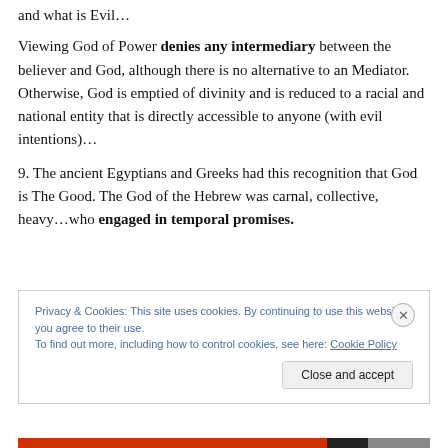and what is Evil…
Viewing God of Power denies any intermediary between the believer and God, although there is no alternative to an Mediator.  Otherwise, God is emptied of divinity and is reduced to a racial and national entity that is directly accessible to anyone (with evil intentions)…
9. The ancient Egyptians and Greeks had this recognition that God is The Good. The God of the Hebrew was carnal, collective, heavy…who engaged in temporal promises.
Privacy & Cookies: This site uses cookies. By continuing to use this website, you agree to their use.
To find out more, including how to control cookies, see here: Cookie Policy